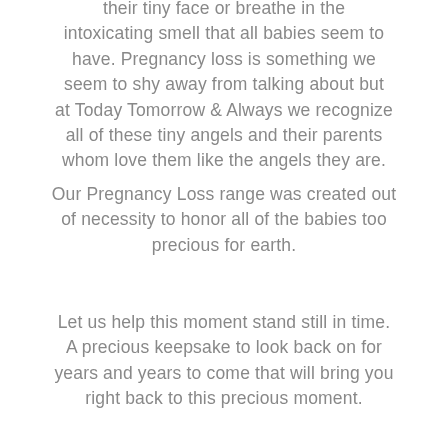their tiny face or breathe in the intoxicating smell that all babies seem to have. Pregnancy loss is something we seem to shy away from talking about but at Today Tomorrow & Always we recognize all of these tiny angels and their parents whom love them like the angels they are.
Our Pregnancy Loss range was created out of necessity to honor all of the babies too precious for earth.
Let us help this moment stand still in time. A precious keepsake to look back on for years and years to come that will bring you right back to this precious moment.